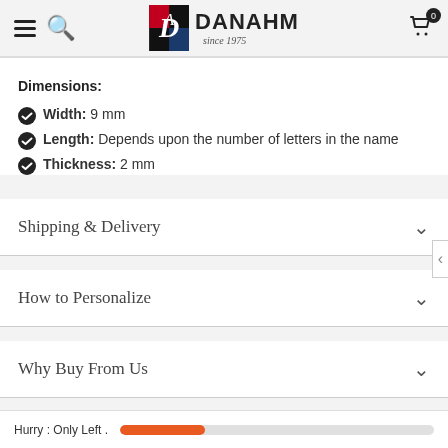DANAHM since 1975 — navigation header with hamburger menu, search, logo, and cart
Dimensions:
Width: 9 mm
Length: Depends upon the number of letters in the name
Thickness: 2 mm
Shipping & Delivery
How to Personalize
Why Buy From Us
Hurry : Only Left .